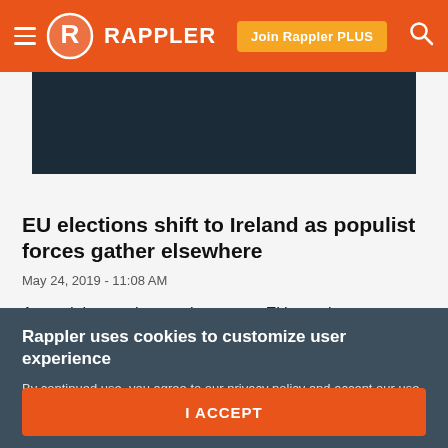RAPPLER | Join Rappler PLUS
[Figure (photo): Dark teal/navy background image, partially visible at top of article card]
EU elections shift to Ireland as populist forces gather elsewhere
May 24, 2019 - 11:08 AM
Around the continent, where most EU member states vote on Sunday, May 26, pro-European leaders are scrambling to mobilize their supporters to resist the populist surge
Rappler uses cookies to customize user experience
By continued use, you agree to our privacy policy and accept our use of such cookies. For further information, click find out more
I ACCEPT